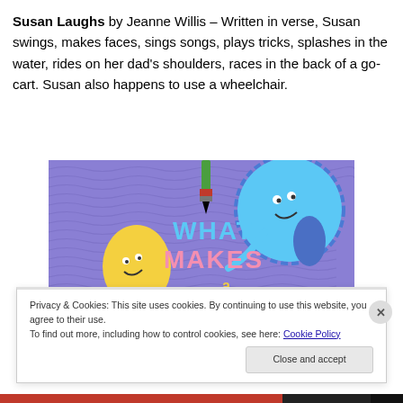Susan Laughs by Jeanne Willis – Written in verse, Susan swings, makes faces, sings songs, plays tricks, splashes in the water, rides on her dad's shoulders, races in the back of a go-cart. Susan also happens to use a wheelchair.
[Figure (illustration): Book cover of 'What Makes a Baby' – colorful illustrated book cover with purple textured background, blue round character with eyes and smile, yellow teardrop-shaped character with face, and text 'WHAT MAKES A' in colorful letters, with partial 'BABY' visible at bottom. A paintbrush is shown at the top.]
Privacy & Cookies: This site uses cookies. By continuing to use this website, you agree to their use. To find out more, including how to control cookies, see here: Cookie Policy